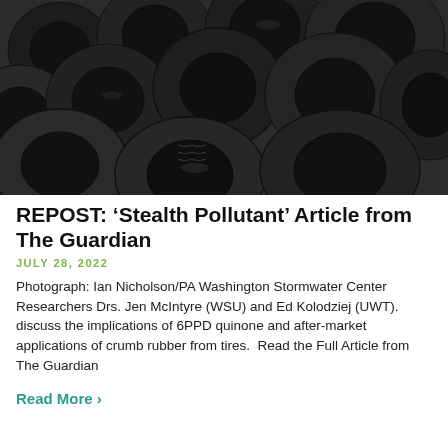[Figure (photo): Black and white photograph of a large pile of old rubber tires stacked on top of each other, viewed from above at an angle. Photo credit: Ian Nicholson/PA.]
REPOST: ‘Stealth Pollutant’ Article from The Guardian
JULY 28, 2022
Photograph: Ian Nicholson/PA Washington Stormwater Center Researchers Drs. Jen McIntyre (WSU) and Ed Kolodziej (UWT). discuss the implications of 6PPD quinone and after-market applications of crumb rubber from tires.  Read the Full Article from The Guardian
Read More ›